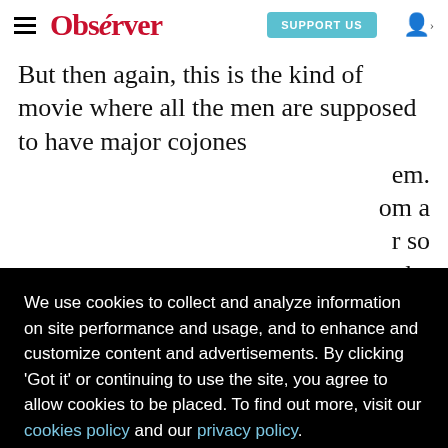Observer — SUPPORT US
But then again, this is the kind of movie where all the men are supposed to have major cojones and women basically all want to have them. ...from a ...r so ...the ...ef. But ...d to ...o ...d have
We use cookies to collect and analyze information on site performance and usage, and to enhance and customize content and advertisements. By clicking 'Got it' or continuing to use the site, you agree to allow cookies to be placed. To find out more, visit our cookies policy and our privacy policy.
Got it!
...John Falcon, Ted Elliott and Terry Rossio...